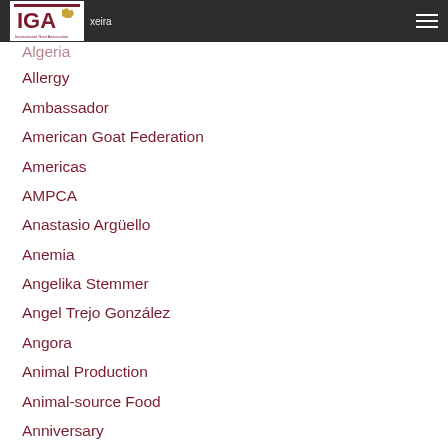IGA International Goat Association
Algeria
Allergy
Ambassador
American Goat Federation
Americas
AMPCA
Anastasio Argüello
Anemia
Angelika Stemmer
Angel Trejo González
Angora
Animal Production
Animal-source Food
Anniversary
Announcement
Anthelmintic
Antibiotics